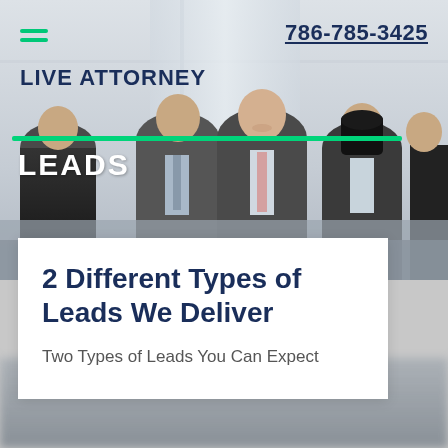[Figure (photo): Group of professional attorneys/business people in suits standing together, against a grey office background with glass panels]
786-785-3425
LIVE ATTORNEY
LEADS
2 Different Types of Leads We Deliver
Two Types of Leads You Can Expect